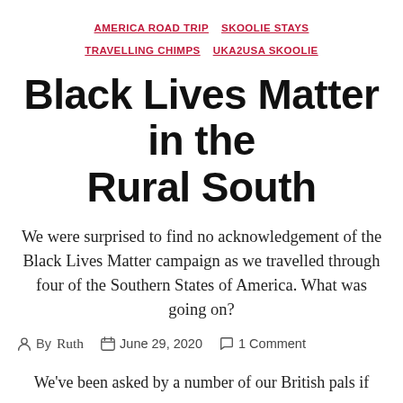AMERICA ROAD TRIP   SKOOLIE STAYS   TRAVELLING CHIMPS   UKA2USA SKOOLIE
Black Lives Matter in the Rural South
We were surprised to find no acknowledgement of the Black Lives Matter campaign as we travelled through four of the Southern States of America. What was going on?
By Ruth   June 29, 2020   1 Comment
We've been asked by a number of our British pals if